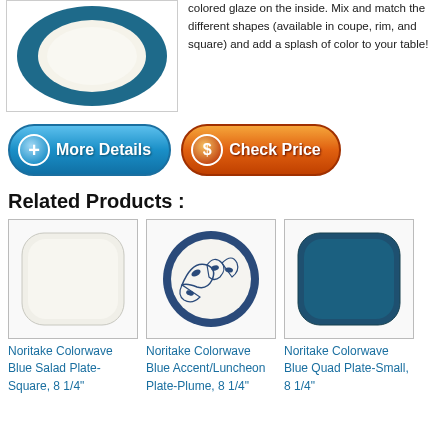[Figure (photo): Blue rimmed round plate with white center, shown from above]
colored glaze on the inside. Mix and match the different shapes (available in coupe, rim, and square) and add a splash of color to your table!
[Figure (other): Blue 'More Details' button with plus icon]
[Figure (other): Orange 'Check Price' button with dollar sign icon]
Related Products :
[Figure (photo): White square rounded plate]
Noritake Colorwave Blue Salad Plate-Square, 8 1/4"
[Figure (photo): Round plate with blue floral vine pattern on white]
Noritake Colorwave Blue Accent/Luncheon Plate-Plume, 8 1/4"
[Figure (photo): Dark blue square rounded plate]
Noritake Colorwave Blue Quad Plate-Small, 8 1/4"